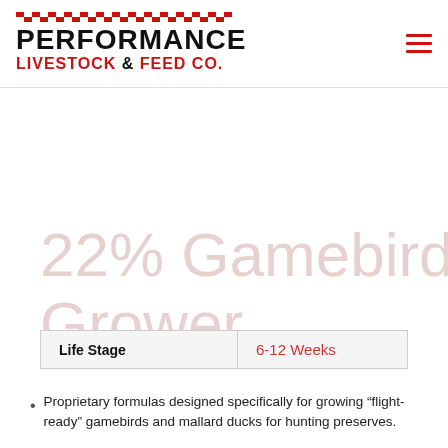PERFORMANCE LIVESTOCK & FEED CO.
22% Gamebird Grower
| Life Stage |  |
| --- | --- |
| Life Stage | 6-12 Weeks |
Proprietary formulas designed specifically for growing “flight-ready” gamebirds and mallard ducks for hunting preserves.